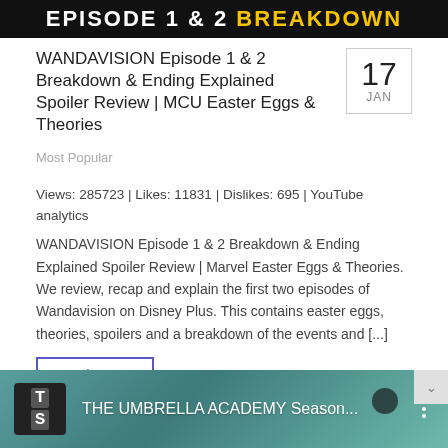[Figure (screenshot): Dark banner with bold text: EPISODE 1 & 2 BREAKDOWN, where BREAKDOWN is in yellow]
WANDAVISION Episode 1 & 2 Breakdown & Ending Explained Spoiler Review | MCU Easter Eggs & Theories
Most Popular
Views: 285723 | Likes: 11831 | Dislikes: 695 | YouTube analytics WANDAVISION Episode 1 & 2 Breakdown & Ending Explained Spoiler Review | Marvel Easter Eggs & Theories. We review, recap and explain the first two episodes of Wandavision on Disney Plus. This contains easter eggs, theories, spoilers and a breakdown of the events and [...]
Read more >
[Figure (screenshot): Bottom banner showing The Umbrella Academy Season thumbnail with teal background, keyboard logo with T and S keys, and three dots menu icon]